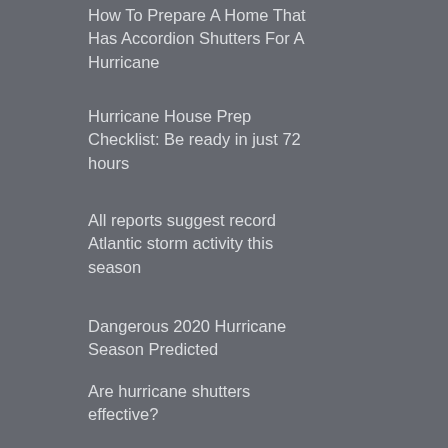How To Prepare A Home That Has Accordion Shutters For A Hurricane
Hurricane House Prep Checklist: Be ready in just 72 hours
All reports suggest record Atlantic storm activity this season
Dangerous 2020 Hurricane Season Predicted
Are hurricane shutters effective?
Follow Us
[Figure (illustration): Social media icons for Facebook and LinkedIn]